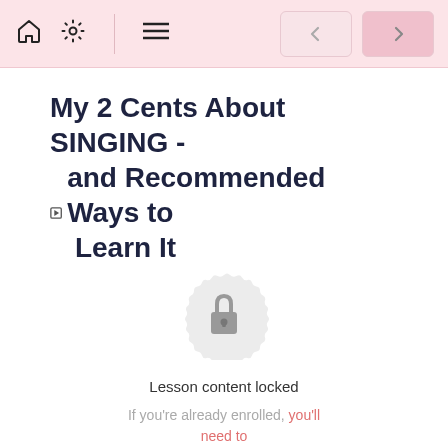Navigation bar with home, settings, menu icons and back/forward buttons
My 2 Cents About SINGING - and Recommended Ways to Learn It
[Figure (illustration): Locked badge icon with a padlock in the center on a decorative circular background]
Lesson content locked
If you're already enrolled, you'll need to login.